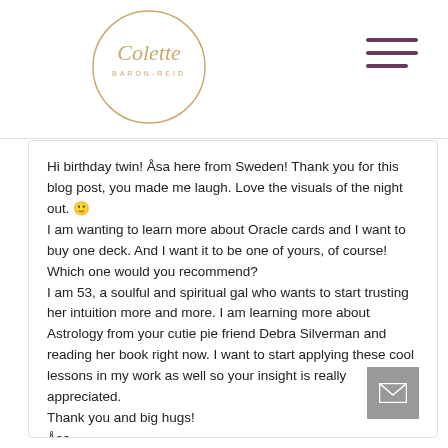Colette Baron-Reid
Hi birthday twin! Åsa here from Sweden! Thank you for this blog post, you made me laugh. Love the visuals of the night out. 🙂
I am wanting to learn more about Oracle cards and I want to buy one deck. And I want it to be one of yours, of course! Which one would you recommend?
I am 53, a soulful and spiritual gal who wants to start trusting her intuition more and more. I am learning more about Astrology from your cutie pie friend Debra Silverman and reading her book right now. I want to start applying these cool lessons in my work as well so your insight is really appreciated.
Thank you and big hugs!
Åsa